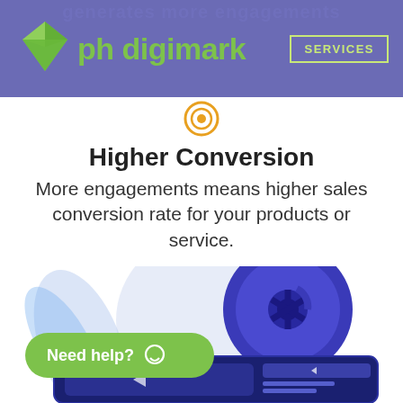generates more engagements
[Figure (logo): PH Digimark logo with green geometric diamond shape and green text 'ph digimark' on purple/blue banner background with 'SERVICES' button on right]
[Figure (illustration): Orange circular target/record icon in center]
Higher Conversion
More engagements means higher sales conversion rate for your products or service.
[Figure (illustration): Illustration of film reel and video player screen with play buttons, blue/purple color scheme with decorative leaf shapes]
[Figure (other): Green pill-shaped 'Need help?' button with chat bubble icon]